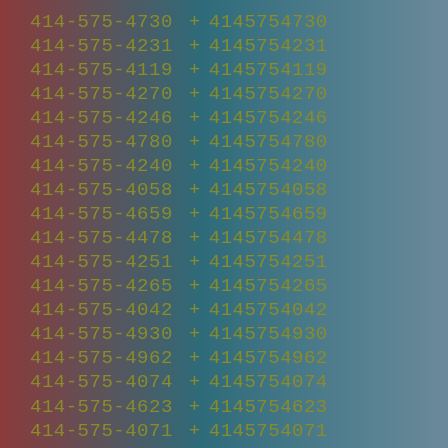| Formatted Number | + | Numeric |
| --- | --- | --- |
| 414-575-4730 | + | 4145754730 |
| 414-575-4231 | + | 4145754231 |
| 414-575-4119 | + | 4145754119 |
| 414-575-4270 | + | 4145754270 |
| 414-575-4246 | + | 4145754246 |
| 414-575-4780 | + | 4145754780 |
| 414-575-4240 | + | 4145754240 |
| 414-575-4058 | + | 4145754058 |
| 414-575-4659 | + | 4145754659 |
| 414-575-4478 | + | 4145754478 |
| 414-575-4251 | + | 4145754251 |
| 414-575-4265 | + | 4145754265 |
| 414-575-4042 | + | 4145754042 |
| 414-575-4930 | + | 4145754930 |
| 414-575-4962 | + | 4145754962 |
| 414-575-4074 | + | 4145754074 |
| 414-575-4623 | + | 4145754623 |
| 414-575-4071 | + | 4145754071 |
| 414-575-4264 | + | 4145754264 |
| 414-575-4581 | + | 4145754581 |
| 414-575-4859 | + | 4145754859 |
| 414-575-4961 | + | 4145754961 |